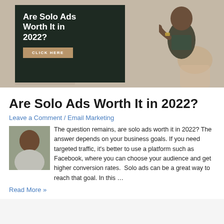[Figure (photo): Banner advertisement for 'Are Solo Ads Worth It in 2022?' with dark overlay panel showing title text, a tan/brown 'CLICK HERE' button, and a person pointing at the viewer, set against a background of a desk with laptop.]
Are Solo Ads Worth It in 2022?
Leave a Comment / Email Marketing
[Figure (photo): Small circular avatar photo of a man, used as an inline image within the article excerpt text.]
The question remains, are solo ads worth it in 2022? The answer depends on your business goals. If you need targeted traffic, it's better to use a platform such as Facebook, where you can choose your audience and get higher conversion rates.  Solo ads can be a great way to reach that goal. In this …
Read More »